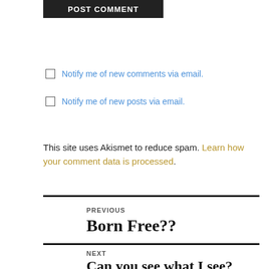[Figure (screenshot): POST COMMENT button — black background, white uppercase text]
Notify me of new comments via email.
Notify me of new posts via email.
This site uses Akismet to reduce spam. Learn how your comment data is processed.
PREVIOUS Born Free??
NEXT Can you see what I see?